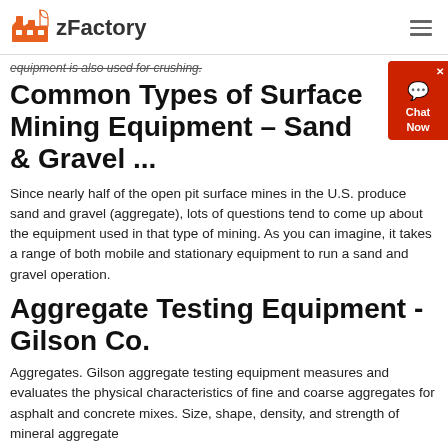zFactory
equipment is also used for crushing.
Common Types of Surface Mining Equipment – Sand & Gravel ...
Since nearly half of the open pit surface mines in the U.S. produce sand and gravel (aggregate), lots of questions tend to come up about the equipment used in that type of mining. As you can imagine, it takes a range of both mobile and stationary equipment to run a sand and gravel operation.
Aggregate Testing Equipment - Gilson Co.
Aggregates. Gilson aggregate testing equipment measures and evaluates the physical characteristics of fine and coarse aggregates for asphalt and concrete mixes. Size, shape, density, and strength of mineral aggregate